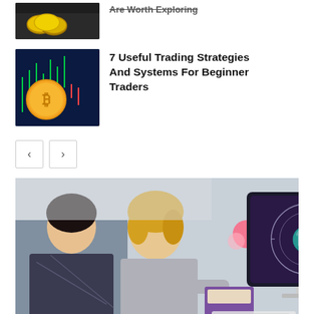[Figure (photo): Thumbnail of cryptocurrency coins on a dark tray, partially visible at top]
[Figure (photo): Thumbnail of Bitcoin coin in front of a stock chart screen with green candlesticks]
7 Useful Trading Strategies And Systems For Beginner Traders
[Figure (other): Pagination navigation with left < and right > arrow buttons]
[Figure (photo): Two women sitting at a desk looking at a computer monitor showing a Scorpio zodiac symbol on a dark purple screen, with flowers in the background]
Are Aries and Scorpio Soulmates?